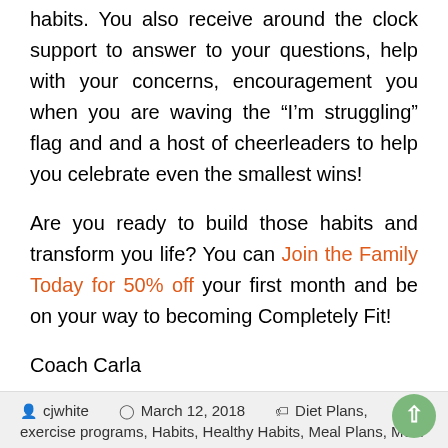habits. You also receive around the clock support to answer to your questions, help with your concerns, encouragement you when you are waving the “I’m struggling” flag and and a host of cheerleaders to help you celebrate even the smallest wins!
Are you ready to build those habits and transform you life? You can Join the Family Today for 50% off your first month and be on your way to becoming Completely Fit!
Coach Carla
cjwhite   March 12, 2018   Diet Plans, exercise programs, Habits, Healthy Habits, Meal Plans, Meal